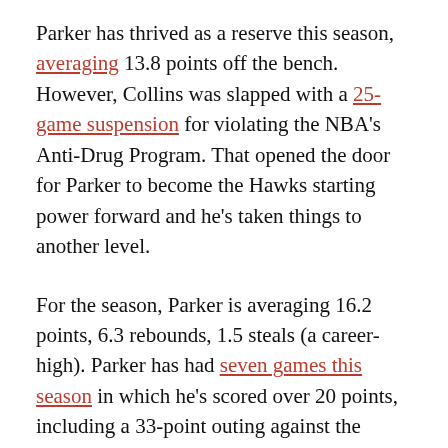Parker has thrived as a reserve this season, averaging 13.8 points off the bench. However, Collins was slapped with a 25-game suspension for violating the NBA's Anti-Drug Program. That opened the door for Parker to become the Hawks starting power forward and he's taken things to another level.
For the season, Parker is averaging 16.2 points, 6.3 rebounds, 1.5 steals (a career-high). Parker has had seven games this season in which he's scored over 20 points, including a 33-point outing against the Bucks.
The Hawks aren't asking Parker to do too many things on offense either. They have him finishing mostly in the paint. 43.9 percent of his shots are coming within three feet of the basket, which is the second-highest percentage of his career. And 19.3 percent of all his field goals have